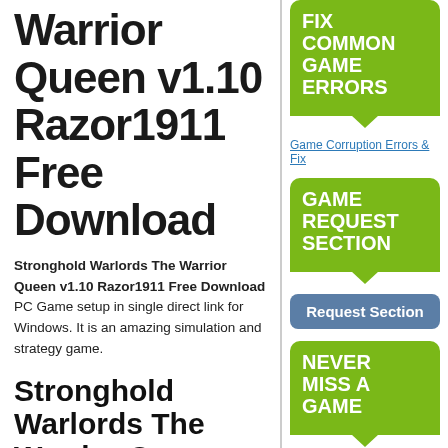Warrior Queen v1.10 Razor1911 Free Download
Stronghold Warlords The Warrior Queen v1.10 Razor1911 Free Download PC Game setup in single direct link for Windows. It is an amazing simulation and strategy game.
Stronghold Warlords The Warrior Queen v1.10 Razor1911 PC Game 2022 Overview
[Figure (infographic): Green speech bubble box labeled FIX COMMON GAME ERRORS with downward triangle pointer]
Game Corruption Errors & Fix
[Figure (infographic): Green speech bubble box labeled GAME REQUEST SECTION with downward triangle pointer]
[Figure (infographic): Blue rounded button labeled Request Section]
[Figure (infographic): Green speech bubble box labeled NEVER MISS A GAME with downward triangle pointer]
[Figure (infographic): Red rounded button labeled Subscribe]
[Figure (infographic): Green speech bubble box labeled TOP (partially visible)]